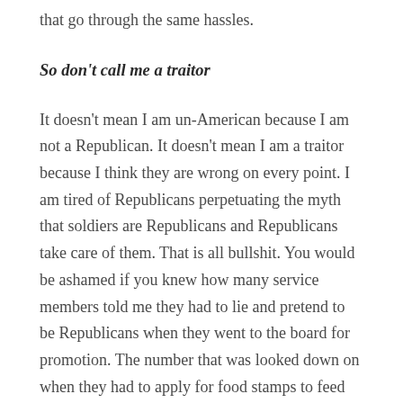that go through the same hassles.
So don't call me a traitor
It doesn't mean I am un-American because I am not a Republican. It doesn't mean I am a traitor because I think they are wrong on every point. I am tired of Republicans perpetuating the myth that soldiers are Republicans and Republicans take care of them. That is all bullshit. You would be ashamed if you knew how many service members told me they had to lie and pretend to be Republicans when they went to the board for promotion. The number that was looked down on when they had to apply for food stamps to feed their families is staggering. Yes, and just don't get me started on how little soldiers are paid. It doesn't make me a bad person because I don't think full-scale